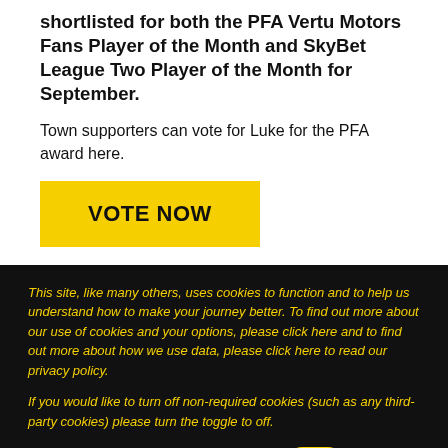shortlisted for both the PFA Vertu Motors Fans Player of the Month and SkyBet League Two Player of the Month for September.
Town supporters can vote for Luke for the PFA award here.
VOTE NOW
This site, like many others, uses cookies to function and to help us understand how to make your journey better. To find out more about our use of cookies and your options, please click here and to find out more about how we use data, please click here to read our privacy policy.
If you would like to turn off non-required cookies (such as any third-party cookies) please turn the toggle to off.
ADDITIONAL COOKIES
ACCEPT AND CLOSE